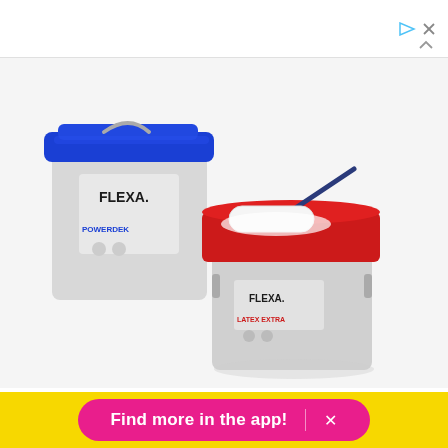[Figure (photo): Two FLEXA paint buckets — one with a blue lid labeled POWERDEK, one open with a red lid and a paint roller resting on top labeled LATEX EXTRA, on a white background.]
FLEX/the INNOVATIONLAB / Via behance.net
[Figure (other): Facebook and Pinterest social share buttons (circular icons)]
Find more in the app!